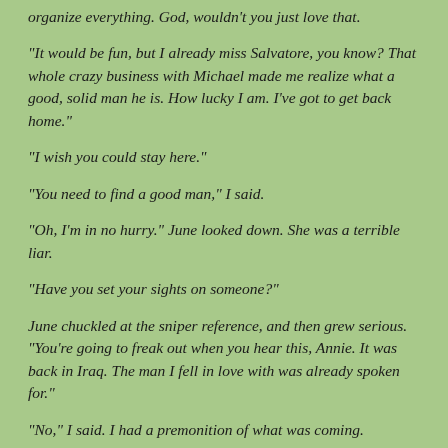organize everything. God, wouldn't you just love that.
“It would be fun, but I already miss Salvatore, you know? That whole crazy business with Michael made me realize what a good, solid man he is. How lucky I am. I’ve got to get back home.”
“I wish you could stay here.”
“You need to find a good man,” I said.
“Oh, I’m in no hurry.” June looked down. She was a terrible liar.
“Have you set your sights on someone?”
June chuckled at the sniper reference, and then grew serious. “You’re going to freak out when you hear this, Annie. It was back in Iraq. The man I fell in love with was already spoken for.”
“No,” I said. I had a premonition of what was coming.
“I fell for Michael.”